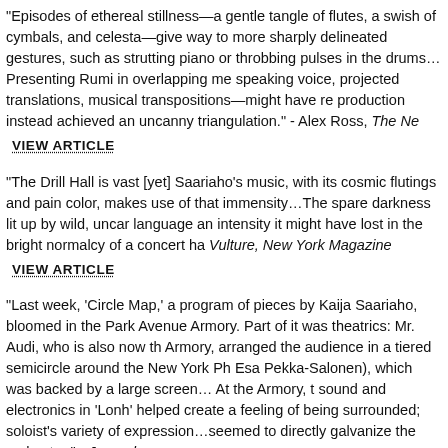“Episodes of ethereal stillness—a gentle tangle of flutes, a swish of cymbals, and celesta—give way to more sharply delineated gestures, such as strutting piano or throbbing pulses in the drums… Presenting Rumi in overlapping me speaking voice, projected translations, musical transpositions—might have re production instead achieved an uncanny triangulation.” - Alex Ross, The Ne
VIEW ARTICLE
“The Drill Hall is vast [yet] Saariaho’s music, with its cosmic flutings and pain color, makes use of that immensity…The spare darkness lit up by wild, uncar language an intensity it might have lost in the bright normalcy of a concert ha Vulture, New York Magazine
VIEW ARTICLE
“Last week, ‘Circle Map,’ a program of pieces by Kaija Saariaho, bloomed in the Park Avenue Armory. Part of it was theatrics: Mr. Audi, who is also now th Armory, arranged the audience in a tiered semicircle around the New York Ph Esa Pekka-Salonen), which was backed by a large screen… At the Armory, t sound and electronics in ‘Lonh’ helped create a feeling of being surrounded; soloist’s variety of expression…seemed to directly galvanize the orchestra.” - Journal
VIEW ARTICLE
‘This vast space proved ideal for the 90-minute program… It’s good to see th Armory taking advantage of Ms. Saariaho’s presence in New York…This kind New York institutions should happen much more often.” - Anthony Tomm